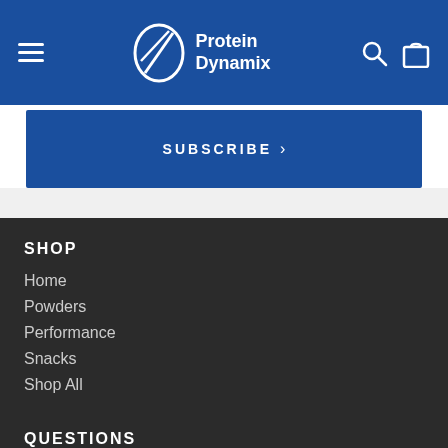Protein Dynamix
SUBSCRIBE >
SHOP
Home
Powders
Performance
Snacks
Shop All
QUESTIONS